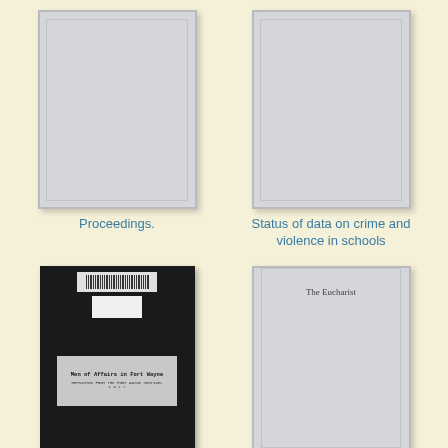[Figure (illustration): Gray book cover placeholder for 'Proceedings.']
Proceedings.
[Figure (illustration): Gray book cover placeholder for 'Status of data on crime and violence in schools']
Status of data on crime and violence in schools
[Figure (illustration): Black book cover showing title 'Men of Affairs in Fort Wayne' with barcode and label sticker]
Men of affairs in Fort
[Figure (illustration): Gray book cover with text 'The Eucharist' near the top]
The Eucharist